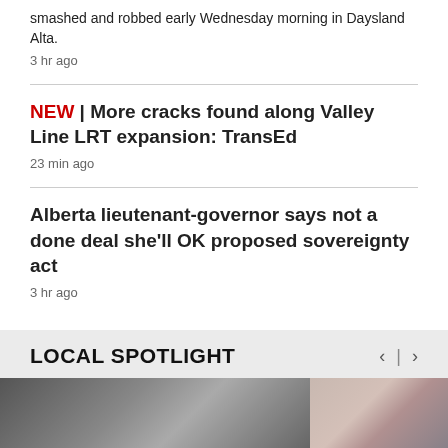smashed and robbed early Wednesday morning in Daysland Alta.
3 hr ago
NEW | More cracks found along Valley Line LRT expansion: TransEd
23 min ago
Alberta lieutenant-governor says not a done deal she'll OK proposed sovereignty act
3 hr ago
LOCAL SPOTLIGHT
[Figure (photo): Two thumbnail images in the Local Spotlight section: a black and white image on the left and a reddish/wintry image on the right]